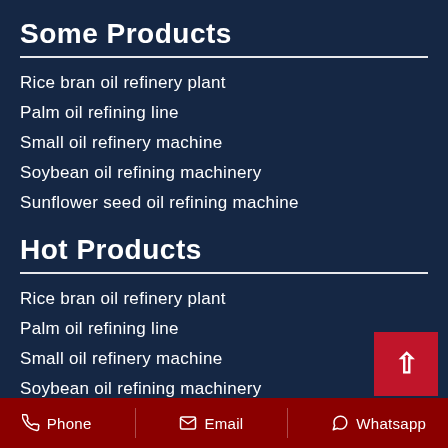Some Products
Rice bran oil refinery plant
Palm oil refining line
Small oil refinery machine
Soybean oil refining machinery
Sunflower seed oil refining machine
Hot Products
Rice bran oil refinery plant
Palm oil refining line
Small oil refinery machine
Soybean oil refining machinery
Phone  Email  Whatsapp